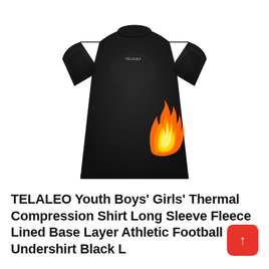[Figure (photo): Black long-sleeve thermal compression shirt displayed on a mannequin torso, with a flame emoji graphic on the lower right side. The shirt has a crew neck and raglan-style sleeves. Small white brand text on chest.]
TELALEO Youth Boys' Girls' Thermal Compression Shirt Long Sleeve Fleece Lined Base Layer Athletic Football Undershirt Black L